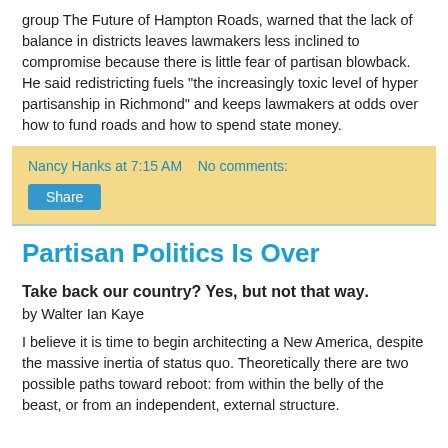group The Future of Hampton Roads, warned that the lack of balance in districts leaves lawmakers less inclined to compromise because there is little fear of partisan blowback. He said redistricting fuels "the increasingly toxic level of hyper partisanship in Richmond" and keeps lawmakers at odds over how to fund roads and how to spend state money.
Nancy Hanks at 7:15 AM   No comments:
Share
Partisan Politics Is Over
Take back our country? Yes, but not that way.
by Walter Ian Kaye
I believe it is time to begin architecting a New America, despite the massive inertia of status quo. Theoretically there are two possible paths toward reboot: from within the belly of the beast, or from an independent, external structure.